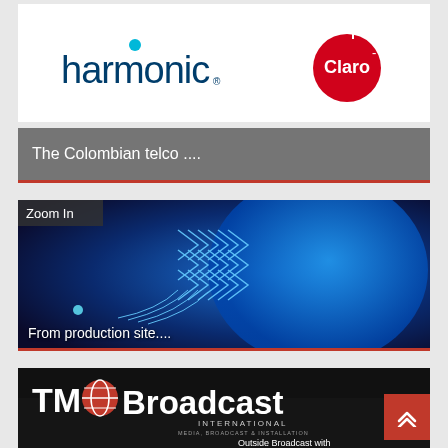[Figure (logo): Harmonic logo (dark blue text with teal dot) and Claro logo (red circle with white Claro text) side by side on white background]
The Colombian telco ....
[Figure (photo): Blue technology/network chip image with 'Zoom In' label in top left and 'From production site...' caption in bottom left]
[Figure (logo): TM Broadcast International - Media, Broadcast & Installation logo with 'Outside Broadcast with GRAVITY MEDIA' text overlay on dark background with cables]